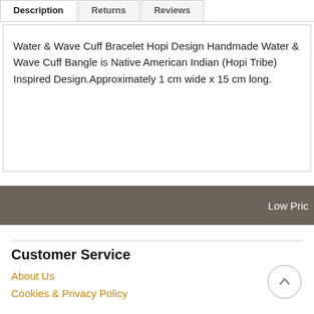Description | Returns | Reviews
Water & Wave Cuff Bracelet Hopi Design Handmade Water & Wave Cuff Bangle is Native American Indian (Hopi Tribe) Inspired Design.Approximately 1 cm wide x 15 cm long.
Low Price
Customer Service
About Us
Cookies & Privacy Policy